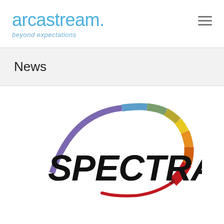[Figure (logo): Arcastream logo with text 'arcastream.' in light blue and tagline 'beyond expectations' in smaller blue italic text]
[Figure (other): Hamburger menu icon (three horizontal lines) in gray, positioned top right]
News
[Figure (logo): Spectra logo: large black bold italic 'SPECTRA.' text with a rainbow arc above made of colored segments (purple, blue, teal/green, olive, yellow, orange, dark orange, red) sweeping from left to right, forming a dynamic arc shape]